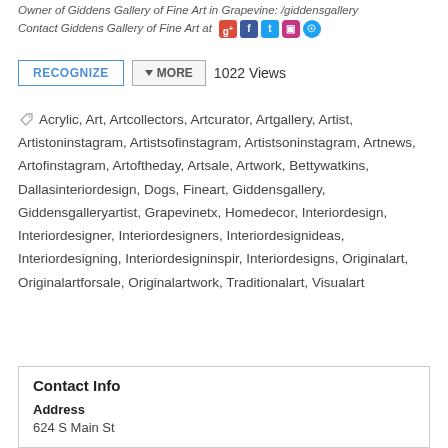Owner of Giddens Gallery of Fine Art in Grapevine: /giddensgallery Contact Giddens Gallery of Fine Art at [social icons]
RECOGNIZE  MORE  1022 Views
Acrylic, Art, Artcollectors, Artcurator, Artgallery, Artist, Artistoninstagram, Artistsofinstagram, Artistsoninstagram, Artnews, Artofinstagram, Artoftheday, Artsale, Artwork, Bettywatkins, Dallasinteriordesign, Dogs, Fineart, Giddensgallery, Giddensgalleryartist, Grapevinetx, Homedecor, Interiordesign, Interiordesigner, Interiordesigners, Interiordesignideas, Interiordesigning, Interiordesigninspir, Interiordesigns, Originalart, Originalartforsale, Originalartwork, Traditionalart, Visualart
Contact Info
Address
624 S Main St